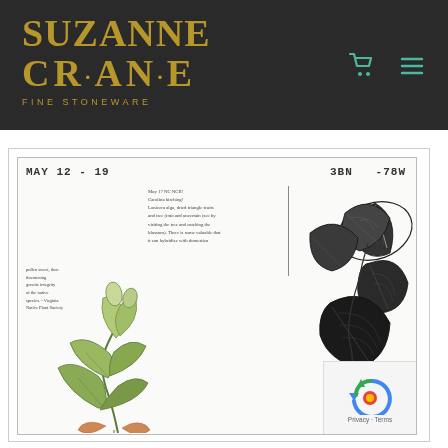SUZANNE CRANE FINE STONEWARE
[Figure (illustration): A journal page spread showing botanical illustrations. Left side has handwritten notes and a watercolor illustration of a green plant. Right side has a detailed pen-and-ink botanical drawing of large leaves. Header reads 'MAY 12-19' on the left and '3BN -78W' on the right. A vertical line separates two sections.]